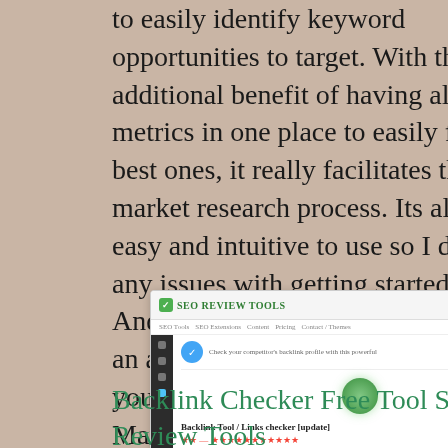to easily identify keyword opportunities to target. With the additional benefit of having all the metrics in one place to easily filter the best ones, it really facilitates the market research process. Its also very easy and intuitive to use so I dont have any issues with getting started quickly. And if you are on a budget, they offer an affordable monthly plan that will fit your needs. Visit Website at Mangools.com. Semrush is the best SEO tool on the market.
[Figure (screenshot): Screenshot of SEO Review Tools website showing Backlink Tool / Links checker interface with a green circle icon, star ratings, and navigation elements]
Backlink Checker Free Tool SEO Review Tools